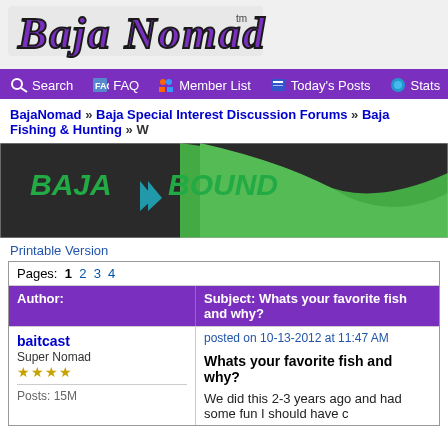[Figure (logo): Baja Nomad logo with purple stylized text and tm mark]
Search  FAQ  Member List  Today's Posts  Stats  Board Rules
BajaNomad » Baja Special Interest Discussion Forums » Baja Fishing & Hunting » W
[Figure (illustration): Baja Bound insurance advertisement banner with green wave and logo]
Printable Version
| Author: | Subject: Whats your favorite fish and why? |
| --- | --- |
| baitcast
Super Nomad
★★★★ | posted on 10-13-2012 at 11:47 AM

Whats your favorite fish and why?

We did this 2-3 years ago and had some fun I should have c |